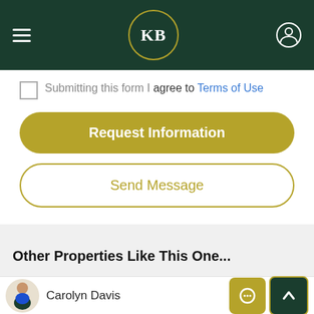[Figure (screenshot): KB real estate website navigation bar with hamburger menu, KB logo in circle, and user profile icon on dark green background]
Submitting this form I agree to Terms of Use
Request Information
Send Message
Other Properties Like This One...
[Figure (photo): Property listing photo showing sky and greenery with 360 degree badge and UNDER OFFER red banner]
Carolyn Davis